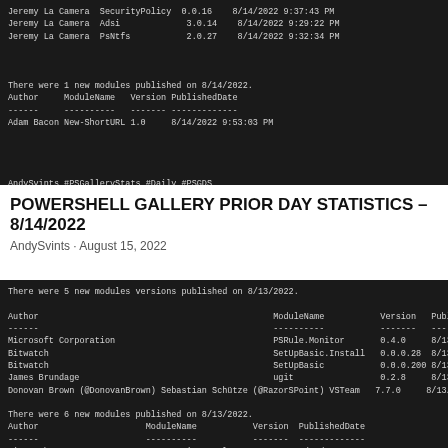[Figure (screenshot): Terminal/console output showing PowerShell Gallery module publish data. Shows rows for Jeremy La Camera (Adsi 3.0.14, 8/14/2022 9:29:22 PM) and Jeremy La Camera (PsNtfs 2.0.27, 8/14/2022 9:32:34 PM), then a section showing 1 new module published on 8/14/2022 with Author, ModuleName, Version, PublishedDate columns including Adam Bacon New-ShortURL 1.0 8/14/2022 9:53:03 PM. Followed by hashtags: AndySvints #PSGalleryStats #Daily #PSGDS]
POWERSHELL GALLERY PRIOR DAY STATISTICS – 8/14/2022
AndySvints · August 15, 2022
[Figure (screenshot): Terminal output showing 5 new module versions published on 8/13/2022 with columns Author, ModuleName, Version, PublishedDate. Rows: Microsoft Corporation PSRule.Monitor 0.4.0 8/13/2022 5:50:57; Bitwatch SetUpBasic.Install 0.0.0.28 8/13/2022 7:29:58; Bitwatch SetUpBasic 0.0.0.200 8/13/2022 7:30:16; James Brundage ugit 0.2.8 8/13/2022 7:35:31; Donovan Brown (@DonovanBrown) Sebastian Schutze (@RazorSPoint) VSTeam 7.7.0 8/13/2022 8:43:59. Then showing 6 new modules published on 8/13/2022 with Author, ModuleName, Version, PublishedDate columns including: Bitwatch SetUpBasic.Template 0.0.0.27 8/13/2022 6:24:23 AM; Svetoslav Nedyalkov Savov SnsMsSqlPsModule 0.0.5 8/13/2022 10:17:35 AM]